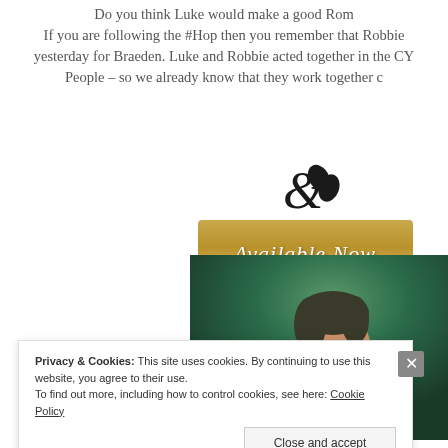Do you think Luke would make a good Rom… If you are following the #Hop then you remember that Robbie yesterday for Braeden. Luke and Robbie acted together in the CY People – so we already know that they work together c
[Figure (illustration): Gold 'Available Now' button with decorative script text and a heart/flower icon above it on a golden gradient background]
[Figure (photo): Man with short dark hair smiling, posed against a green textured background, shirtless]
Privacy & Cookies: This site uses cookies. By continuing to use this website, you agree to their use. To find out more, including how to control cookies, see here: Cookie Policy
Close and accept